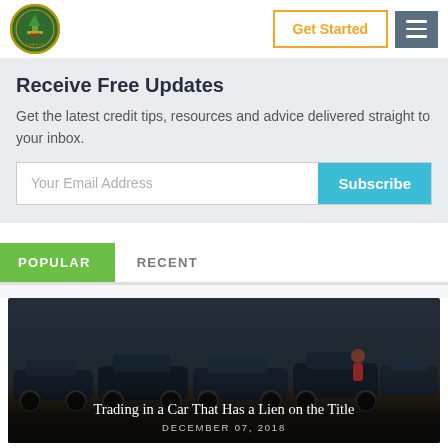[Figure (logo): Circular green and gold logo with tree and ACE text]
Get Started
Receive Free Updates
Get the latest credit tips, resources and advice delivered straight to your inbox.
Your Email Address
Subscribe
POPULAR
RECENT
[Figure (photo): Car lot with multiple vehicles, dark overlay]
Trading in a Car That Has a Lien on the Title
DECEMBER 07, 2018